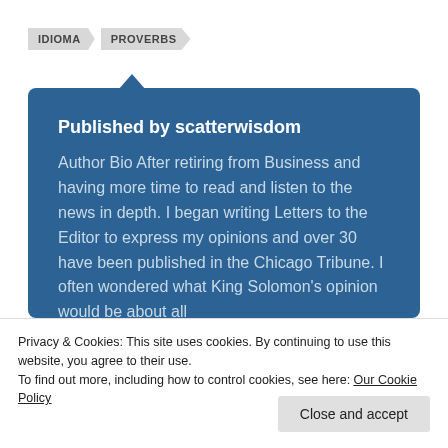IDIOMA   PROVERBS
Published by scatterwisdom
Author Bio After retiring from Business and having more time to read and listen to the news in depth. I began writing Letters to the Editor to express my opinions and over 30 have been published in the Chicago Tribune. I often wondered what King Solomon's opinion would be about all
Privacy & Cookies: This site uses cookies. By continuing to use this website, you agree to their use.
To find out more, including how to control cookies, see here: Our Cookie Policy
Close and accept